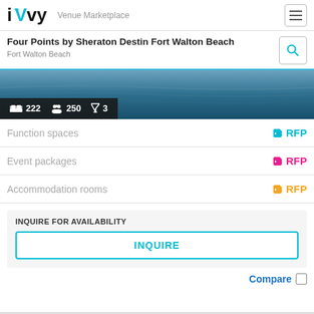iVvy Venue Marketplace
Four Points by Sheraton Destin Fort Walton Beach
Fort Walton Beach
[Figure (photo): Ocean/beach photo with dark stats bar showing: bed icon 222, people icon 250, cocktail icon 3]
Function spaces  RFP
Event packages  RFP
Accommodation rooms  RFP
INQUIRE FOR AVAILABILITY
INQUIRE
Compare